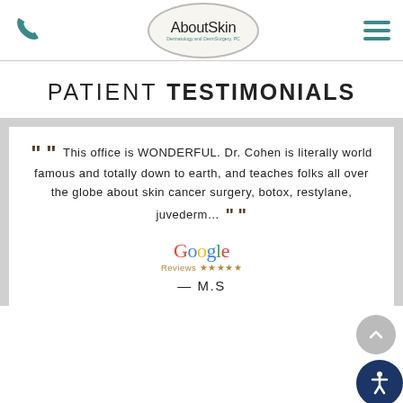[Figure (logo): AboutSkin Dermatology and DermSurgery, PC logo in circular border with phone icon and hamburger menu]
PATIENT TESTIMONIALS
““ This office is WONDERFUL. Dr. Cohen is literally world famous and totally down to earth, and teaches folks all over the globe about skin cancer surgery, botox, restylane, juvederm... ””
[Figure (logo): Google Reviews with 5 stars]
— M.S